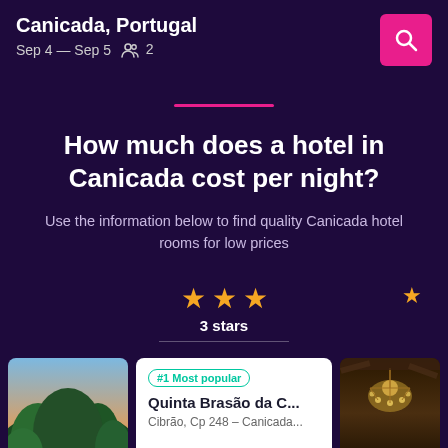Canicada, Portugal — Sep 4 — Sep 5 — 2 guests
How much does a hotel in Canicada cost per night?
Use the information below to find quality Canicada hotel rooms for low prices
3 stars
#1 Most popular
Quinta Brasão da C...
Cibrão, Cp 248 – Canicada...